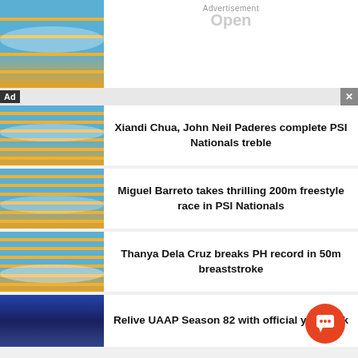[Figure (photo): Swimming pool lanes with swimmer from above, top of page]
Advertisement
Open
Ad
×
[Figure (photo): Swimming competition pool with lane separators]
Xiandi Chua, John Neil Paderes complete PSI Nationals treble
[Figure (photo): Swimming competition pool with lane separators]
Miguel Barreto takes thrilling 200m freestyle race in PSI Nationals
[Figure (photo): Swimming competition pool with breaststroke swimmer]
Thanya Dela Cruz breaks PH record in 50m breaststroke
[Figure (photo): Crowd at basketball arena, UAAP Season 82]
Relive UAAP Season 82 with official yearbook